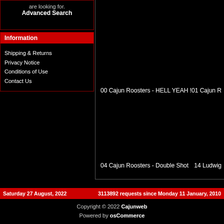are looking for. Advanced Search
Information
Shipping & Returns
Privacy Notice
Conditions of Use
Contact Us
00 Cajun Roosters - HELL YEAH !
01 Cajun R
04 Cajun Roosters - Double Shot
14 Ludwig
Saturday 27 August, 2022    3113892 requests since Monday 11 January, 2010
Copyright © 2022 Cajunweb
Powered by osCommerce